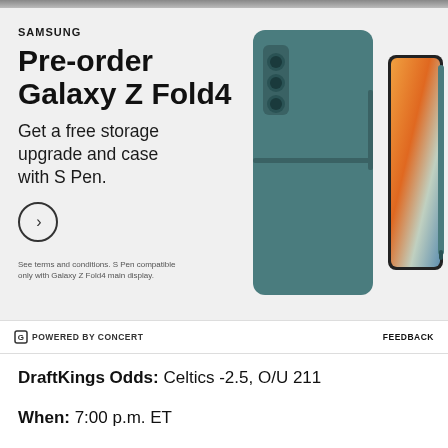[Figure (photo): Samsung advertisement for pre-ordering Galaxy Z Fold4. Features Samsung logo, headline 'Pre-order Galaxy Z Fold4', subtext 'Get a free storage upgrade and case with S Pen.', a circular arrow CTA button, a disclaimer about S Pen compatibility, and an image of the Galaxy Z Fold4 phone with case and S Pen stylus in teal/green color.]
POWERED BY CONCERT
FEEDBACK
DraftKings Odds: Celtics -2.5, O/U 211
When: 7:00 p.m. ET